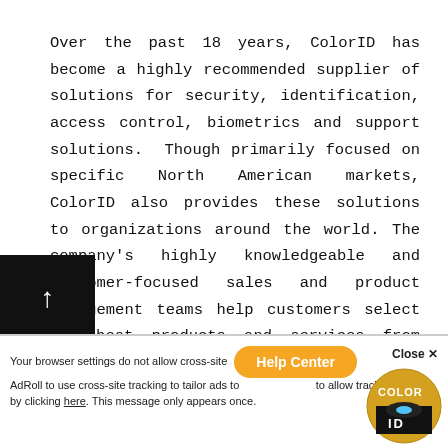Over the past 18 years, ColorID has become a highly recommended supplier of solutions for security, identification, access control, biometrics and support solutions.  Though primarily focused on specific North American markets, ColorID also provides these solutions to organizations around the world. The company's highly knowledgeable and customer-focused sales and product management teams help customers select the best products and services from well-known and innovative manufacturers to meet their requirements. Also, the company's engineering team provides exceptional support for the life of those products. Contact ColorID at 704-987-2238 or toll free in Canada and the US at 88...
Your browser settings do not allow cross-site tracking. You can change your settings to allow AdRoll to use cross-site tracking to tailor ads to you. This message only appears once.